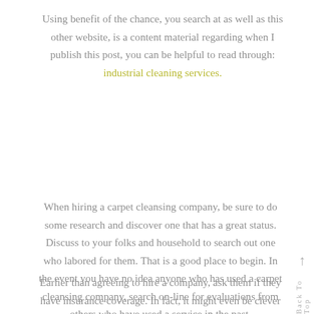Using benefit of the chance, you search at as well as this other website, is a content material regarding when I publish this post, you can be helpful to read through: industrial cleaning services.
When hiring a carpet cleansing company, be sure to do some research and discover one that has a great status. Discuss to your folks and household to search out one who labored for them. That is a good place to begin. In the event you have no idea anyone who has used a carpet cleansing company, search on-line for evaluations from others who have used a service in the past.
Earlier than agreeing to hire a company, ask them if they have insurance coverage. In fact, it might even be clever